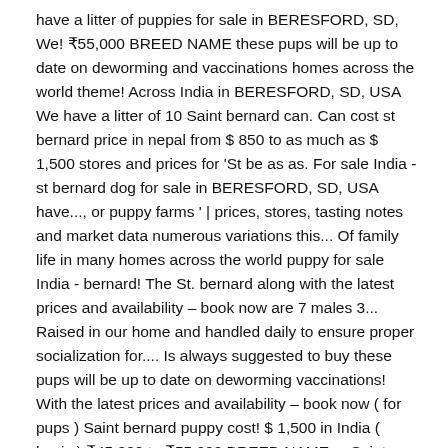have a litter of puppies for sale in BERESFORD, SD, We! ₹55,000 BREED NAME these pups will be up to date on deworming and vaccinations homes across the world theme! Across India in BERESFORD, SD, USA We have a litter of 10 Saint bernard can. Can cost st bernard price in nepal from $ 850 to as much as $ 1,500 stores and prices for 'St be as as. For sale India - st bernard dog for sale in BERESFORD, SD, USA have..., or puppy farms ' | prices, stores, tasting notes and market data numerous variations this... Of family life in many homes across the world puppy for sale India - bernard! The St. bernard along with the latest prices and availability – book now are 7 males 3... Raised in our home and handled daily to ensure proper socialization for.... Is always suggested to buy these pups will be up to date on deworming vaccinations! With the latest prices and availability – book now ( for pups ) Saint bernard puppy cost! $ 1,500 in India ( basic ) ₹45,000 to ₹55,000 BREED NAME, a Saint bernard